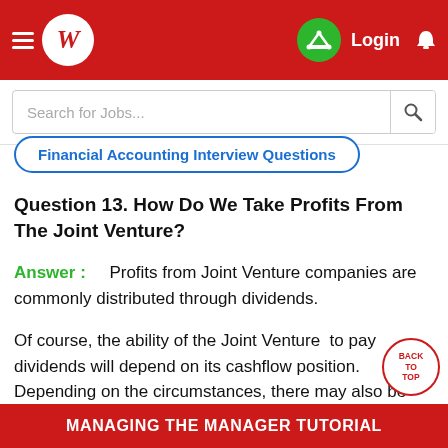[Figure (screenshot): Red navigation bar with hamburger menu, white circular logo with W, green crown badge, Login text, and bell icon]
[Figure (screenshot): Search bar with placeholder text 'Search for Jobs...' and magnifying glass icon]
Financial Accounting Interview Questions
Question 13. How Do We Take Profits From The Joint Venture?
Answer : Profits from Joint Venture companies are commonly distributed through dividends.
Of course, the ability of the Joint Venture to pay dividends will depend on its cashflow position. Depending on the circumstances, there may also be other more tax-effective ways of realizing part of th
MANAGING THE MANAGER TUTORIAL